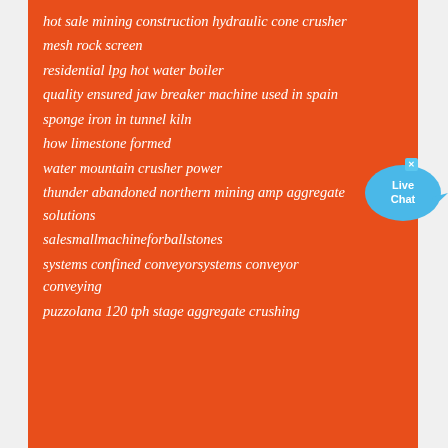hot sale mining construction hydraulic cone crusher
mesh rock screen
residential lpg hot water boiler
quality ensured jaw breaker machine used in spain
sponge iron in tunnel kiln
how limestone formed
water mountain crusher power
thunder abandoned northern mining amp aggregate solutions
salesmallmachineforballstones
systems confined conveyorsystems conveyor conveying
puzzolana 120 tph stage aggregate crushing
[Figure (illustration): Live Chat speech bubble widget in blue with text 'Live Chat' and a small close button]